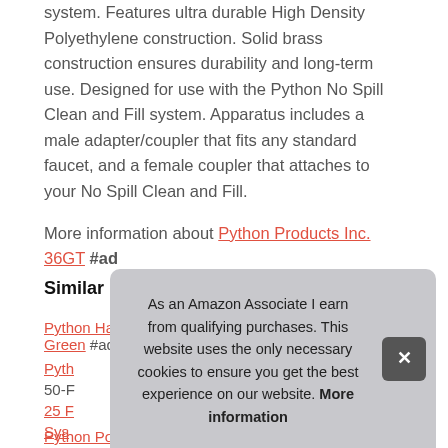system. Features ultra durable High Density Polyethylene construction. Solid brass construction ensures durability and long-term use. Designed for use with the Python No Spill Clean and Fill system. Apparatus includes a male adapter/coupler that fits any standard faucet, and a female coupler that attaches to your No Spill Clean and Fill.
More information about Python Products Inc. 36GT #ad
Similar products
Python Hands-Free and Spill Free Aquarium Hook, Green #ad
Python #ad
50-F…
25 F…
Sys…
As an Amazon Associate I earn from qualifying purchases. This website uses the only necessary cookies to ensure you get the best experience on our website. More information
Python Porter, Mildew resistant with Heavy-duty Velcro #ad